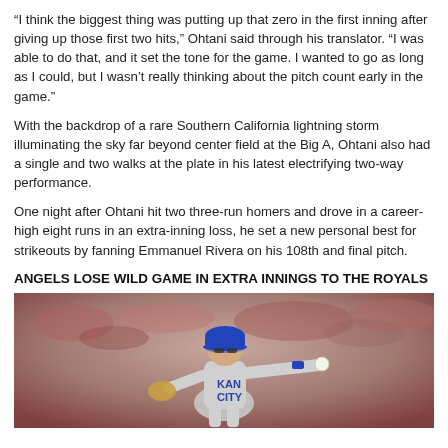“I think the biggest thing was putting up that zero in the first inning after giving up those first two hits,” Ohtani said through his translator. “I was able to do that, and it set the tone for the game. I wanted to go as long as I could, but I wasn’t really thinking about the pitch count early in the game.”
With the backdrop of a rare Southern California lightning storm illuminating the sky far beyond center field at the Big A, Ohtani also had a single and two walks at the plate in his latest electrifying two-way performance.
One night after Ohtani hit two three-run homers and drove in a career-high eight runs in an extra-inning loss, he set a new personal best for strikeouts by fanning Emmanuel Rivera on his 108th and final pitch.
ANGELS LOSE WILD GAME IN EXTRA INNINGS TO THE ROYALS
[Figure (photo): A Kansas City Royals baseball player in a gray KC uniform and blue cap making a throw, with a blurred crowd in the background at a baseball stadium.]